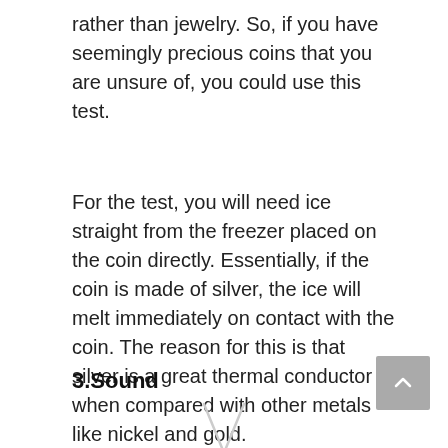rather than jewelry. So, if you have seemingly precious coins that you are unsure of, you could use this test.
For the test, you will need ice straight from the freezer placed on the coin directly. Essentially, if the coin is made of silver, the ice will melt immediately on contact with the coin. The reason for this is that silver is a great thermal conductor when compared with other metals like nickel and gold.
3.Sound
[Figure (illustration): Partial illustration of two metallic rods or sticks crossed in a V shape, visible at the bottom of the page.]